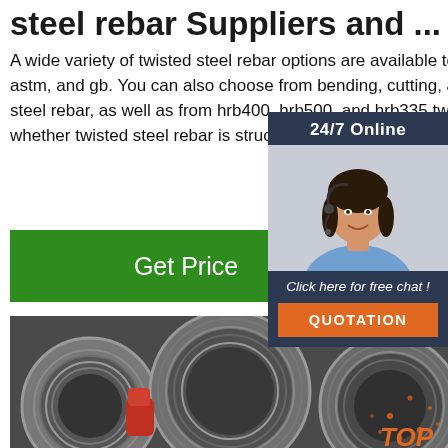steel rebar Suppliers and ...
A wide variety of twisted steel rebar options are available to you, such as aisi, astm, and gb. You can also choose from bending, cutting, and welding twisted steel rebar, as well as from hrb400, hrb500, and hrb335 twisted steel and whether twisted steel rebar is structural bar.
[Figure (other): Customer service chat widget with 24/7 Online label, photo of a woman with headset, 'Click here for free chat!' text, and QUOTATION button]
[Figure (photo): Coils of twisted steel rebar wire in an industrial warehouse setting, with a worker in red gloves visible]
[Figure (other): Orange TOP badge/logo overlay on photo]